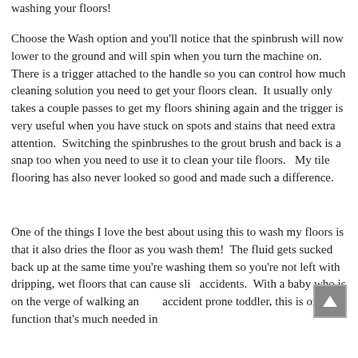washing your floors!
Choose the Wash option and you'll notice that the spinbrush will now lower to the ground and will spin when you turn the machine on.  There is a trigger attached to the handle so you can control how much cleaning solution you need to get your floors clean.  It usually only takes a couple passes to get my floors shining again and the trigger is very useful when you have stuck on spots and stains that need extra attention.  Switching the spinbrushes to the grout brush and back is a snap too when you need to use it to clean your tile floors.   My tile flooring has also never looked so good and made such a difference.
One of the things I love the best about using this to wash my floors is that it also dries the floor as you wash them!  The fluid gets sucked back up at the same time you're washing them so you're not left with dripping, wet floors that can cause slip accidents.  With a baby who is on the verge of walking and an accident prone toddler, this is one function that's much needed in